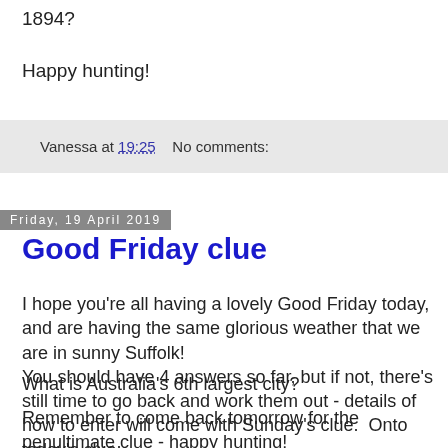1894?
Happy hunting!
Vanessa at 19:25    No comments:
Friday, 19 April 2019
Good Friday clue
I hope you're all having a lovely Good Friday today, and are having the same glorious weather that we are in sunny Suffolk!
You should have 4 answers so far, but if not, there's still time to go back and work them out - details of how to enter will come with Sunday's clue.  Onto today's clue:
What is Australia's 6th largest city?
Remember to come back tomorrow for the penultimate clue - happy hunting!